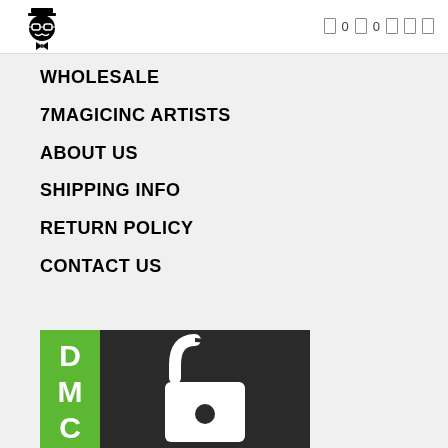[Figure (logo): 7MagicInc logo: cartoon figure with top hat and glasses]
[Figure (infographic): Navigation icons bar with icon symbols and zero counts]
WHOLESALE
7MAGICINC ARTISTS
ABOUT US
SHIPPING INFO
RETURN POLICY
CONTACT US
[Figure (illustration): Product image with green sidebar showing letters D, M, C vertically on left and an open padlock icon on dark background]